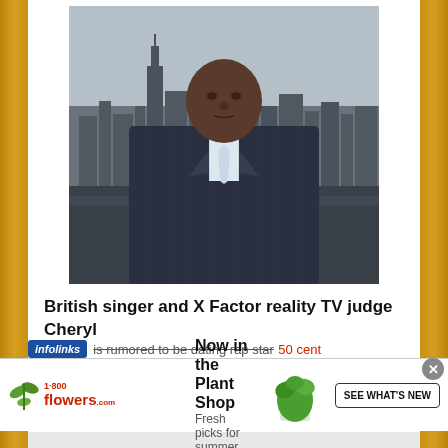[Figure (photo): Man in dark pinstripe suit with light blue tie, standing against a New York City skyline background]
British singer and X Factor reality TV judge Cheryl
is rumored to be dating rap star 50 cent
[Figure (infographic): 1-800-Flowers.com advertisement: Now in the Plant Shop. Fresh picks for summer. SEE WHAT'S NEW button with plant image.]